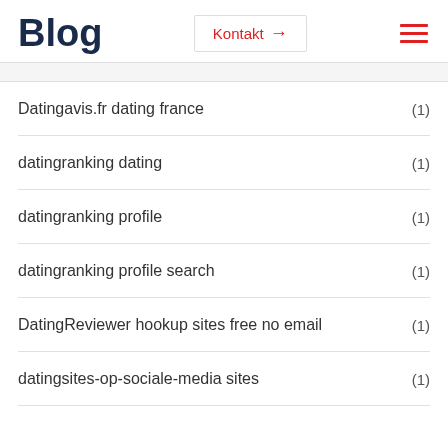Blog
Kontakt →
Datingavis.fr dating france (1)
datingranking dating (1)
datingranking profile (1)
datingranking profile search (1)
DatingReviewer hookup sites free no email (1)
datingsites-op-sociale-media sites (1)